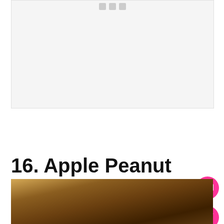[Figure (other): Advertisement placeholder area with small icon indicators at top center]
16. Apple Peanut Butter Cheesecake Bars.
[Figure (photo): Close-up photo of Apple Peanut Butter Cheesecake Bars showing golden brown color]